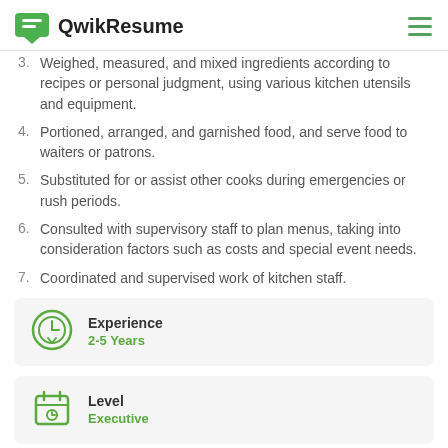QwikResume
Weighed, measured, and mixed ingredients according to recipes or personal judgment, using various kitchen utensils and equipment.
Portioned, arranged, and garnished food, and serve food to waiters or patrons.
Substituted for or assist other cooks during emergencies or rush periods.
Consulted with supervisory staff to plan menus, taking into consideration factors such as costs and special event needs.
Coordinated and supervised work of kitchen staff.
Experience
2-5 Years
Level
Executive